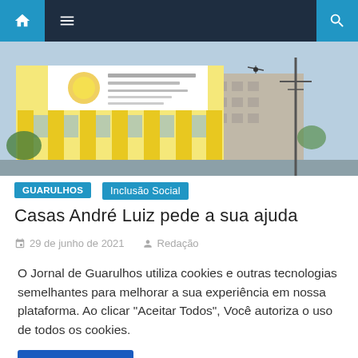Navigation bar with home, menu, and search icons
[Figure (photo): Exterior photo of Casas André Luiz building - yellow and white facade with a sign reading 'Casas André Luiz' and information text, blue sky in background, utility pole visible on right side]
GUARULHOS
Inclusão Social
Casas André Luiz pede a sua ajuda
29 de junho de 2021   Redação
O Jornal de Guarulhos utiliza cookies e outras tecnologias semelhantes para melhorar a sua experiência em nossa plataforma. Ao clicar "Aceitar Todos", Você autoriza o uso de todos os cookies.
Aceitar Todos